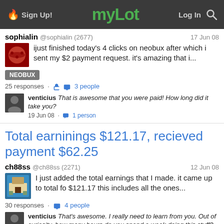myLot — Sign Up! / Log In
sophialin @sophialin (2677) · 17 Jun 08
ijust finished today's 4 clicks on neobux after which i sent my $2 payment request. it's amazing that i...
NEOBUX
25 responses · 3 people
venticius That is awesome that you were paid! How long did it take you?
19 Jun 08 · 1 person
Total earninings $121.17, recieved payment $62.25
ch88ss @ch88ss (2271) · 12 Jun 08
I just added the total earnings that I made. it came up to total fo $121.17 this includes all the ones...
30 responses · 4 people
venticius That's awesome. I really need to learn from you. Out of curiosity, how many hours do you spend a week doing this stuff?
19 Jun 08 · 1 comment